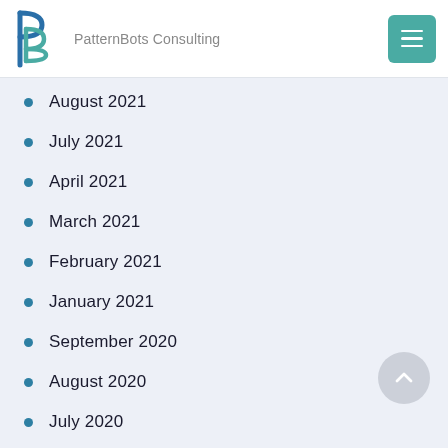PatternBots Consulting
August 2021
July 2021
April 2021
March 2021
February 2021
January 2021
September 2020
August 2020
July 2020